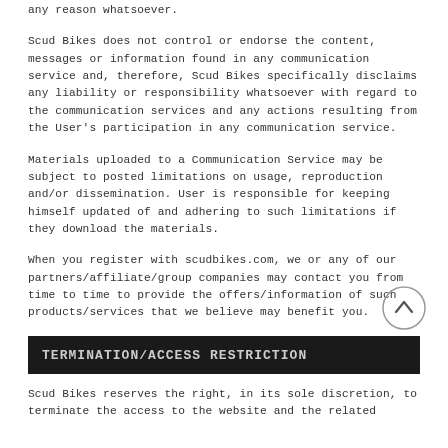any reason whatsoever.
Scud Bikes does not control or endorse the content, messages or information found in any communication service and, therefore, Scud Bikes specifically disclaims any liability or responsibility whatsoever with regard to the communication services and any actions resulting from the User's participation in any communication service.
Materials uploaded to a Communication Service may be subject to posted limitations on usage, reproduction and/or dissemination. User is responsible for keeping himself updated of and adhering to such limitations if they download the materials.
When you register with scudbikes.com, we or any of our partners/affiliate/group companies may contact you from time to time to provide the offers/information of such products/services that we believe may benefit you.
TERMINATION/ACCESS RESTRICTION
Scud Bikes reserves the right, in its sole discretion, to terminate the access to the website and the related...